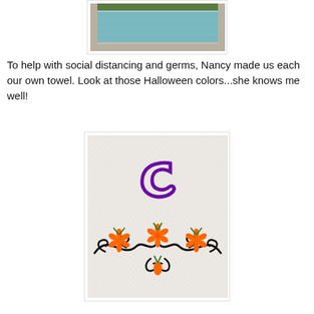[Figure (photo): A rectangular swimming pool with concrete surround and green grass/hedges visible at the back, photographed from above at an angle.]
To help with social distancing and germs, Nancy made us each our own towel. Look at those Halloween colors...she knows me well!
[Figure (photo): A white fluffy towel with Halloween-themed embroidery: a purple swirl monogram letter C at the top center, and below it a decorative vine with black scrollwork, orange flowers with green leaves.]